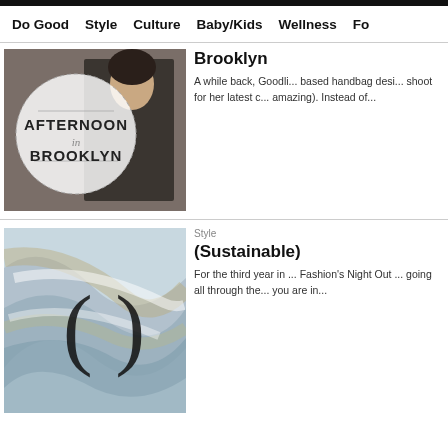Do Good  Style  Culture  Baby/Kids  Wellness  Fo
[Figure (photo): Afternoon in Brooklyn article image: woman in dark coat with 'Afternoon in Brooklyn' text overlay circle]
Brooklyn
A while back, Goodli... based handbag desi... shoot for her latest c... amazing). Instead of...
[Figure (photo): Sustainable fashion article image: colorful silk scarves with parentheses graphic overlay]
Style
(Sustainable)
For the third year in ... Fashion's Night Out ... going all through the... you are in...